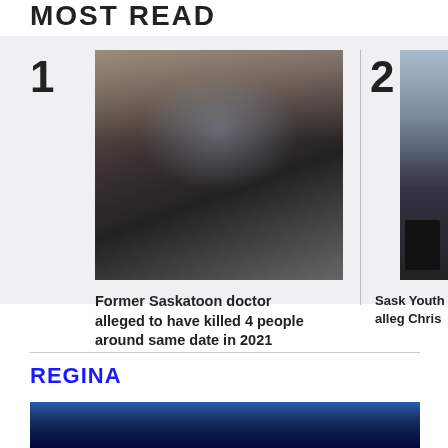MOST READ
[Figure (photo): Photo of a masked man holding red folders, standing in front of vehicles in a parking area]
Former Saskatoon doctor alleged to have killed 4 people around same date in 2021
[Figure (photo): Partially visible photo showing what appears to be an office chair]
Sask Youth alleg Chris
REGINA
[Figure (photo): Partially visible photo with dark blue tones, possibly a night sky or landscape]